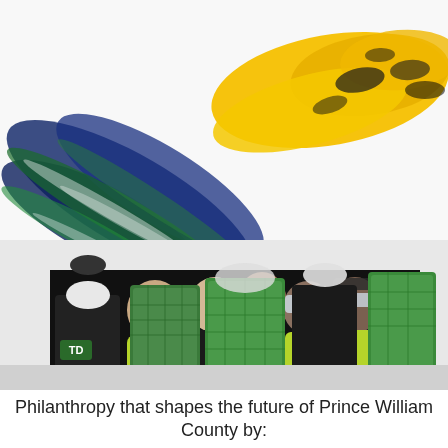[Figure (photo): A group of five people standing behind a table with multiple green patterned TD-branded reusable bags filled with items. Some people are wearing bright yellow-green shirts. One person is wearing a face mask. The background has colorful paint brush stroke artwork in blue, green, and yellow/gold.]
Philanthropy that shapes the future of Prince William County by: